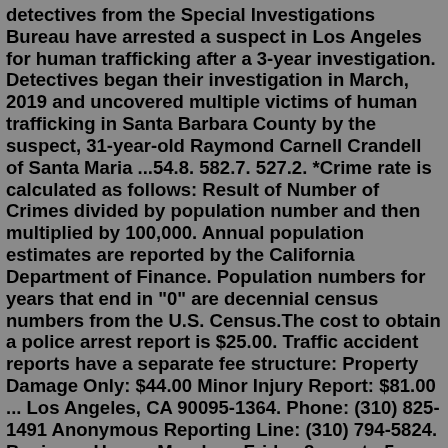detectives from the Special Investigations Bureau have arrested a suspect in Los Angeles for human trafficking after a 3-year investigation. Detectives began their investigation in March, 2019 and uncovered multiple victims of human trafficking in Santa Barbara County by the suspect, 31-year-old Raymond Carnell Crandell of Santa Maria ...54.8. 582.7. 527.2. *Crime rate is calculated as follows: Result of Number of Crimes divided by population number and then multiplied by 100,000. Annual population estimates are reported by the California Department of Finance. Population numbers for years that end in "0" are decennial census numbers from the U.S. Census.The cost to obtain a police arrest report is $25.00. Traffic accident reports have a separate fee structure: Property Damage Only: $44.00 Minor Injury Report: $81.00 ... Los Angeles, CA 90095-1364. Phone: (310) 825-1491 Anonymous Reporting Line: (310) 794-5824. Business Hours. Monday - Friday 8 a.m. to 5 p.m.los angeles mugshots 2021. wny charitable foundations napoleonic wars